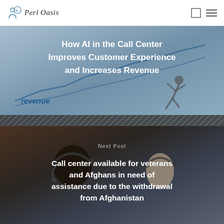Perl Oasis
[Figure (illustration): Hero image with a line chart trending upward and a person pushing a bar upward, overlaid with bold white text: 'How AI in the Call Center Improves Customer Experience and Increases Revenue', and italic blue 'revenue' text. Hatching strip at bottom.]
How AI in the Call Center Improves Customer Experience and Increases Revenue
[Figure (photo): Photo of call center workers wearing headsets, with 'Next Post' label and title text overlay reading: 'Call center available for veterans and Afghans in need of assistance due to the withdrawal from Afghanistan']
Next Post
Call center available for veterans and Afghans in need of assistance due to the withdrawal from Afghanistan